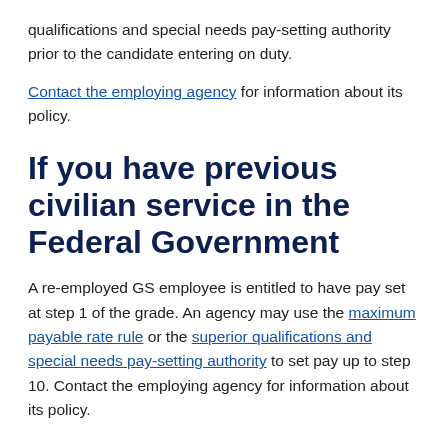qualifications and special needs pay-setting authority prior to the candidate entering on duty.
Contact the employing agency for information about its policy.
If you have previous civilian service in the Federal Government
A re-employed GS employee is entitled to have pay set at step 1 of the grade. An agency may use the maximum payable rate rule or the superior qualifications and special needs pay-setting authority to set pay up to step 10. Contact the employing agency for information about its policy.